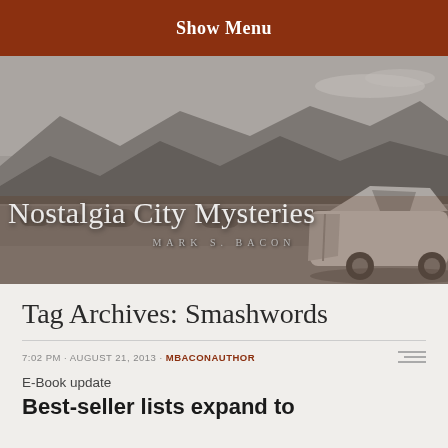Show Menu
[Figure (photo): Grayscale desert landscape with mountains in background and a vintage car with open door in the foreground. Overlaid text reads 'Nostalgia City Mysteries' and 'MARK S. BACON']
Tag Archives: Smashwords
7:02 PM · AUGUST 21, 2013 · MBACONAUTHOR
E-Book update
Best-seller lists expand to